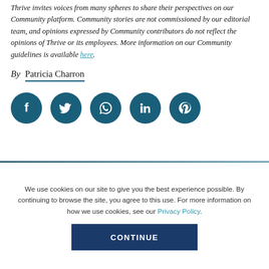Thrive invites voices from many spheres to share their perspectives on our Community platform. Community stories are not commissioned by our editorial team, and opinions expressed by Community contributors do not reflect the opinions of Thrive or its employees. More information on our Community guidelines is available here.
By  Patricia Charron
[Figure (infographic): Five dark teal circular social media icons: Facebook, Twitter, WhatsApp, LinkedIn, Pinterest]
We use cookies on our site to give you the best experience possible. By continuing to browse the site, you agree to this use. For more information on how we use cookies, see our Privacy Policy.
CONTINUE